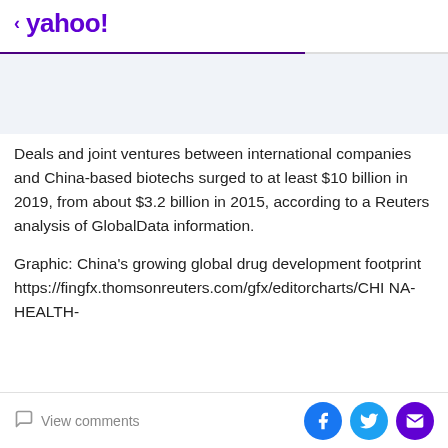< yahoo!
Deals and joint ventures between international companies and China-based biotechs surged to at least $10 billion in 2019, from about $3.2 billion in 2015, according to a Reuters analysis of GlobalData information.
Graphic: China's growing global drug development footprint https://fingfx.thomsonreuters.com/gfx/editorcharts/CHINA-HEALTH-
View comments